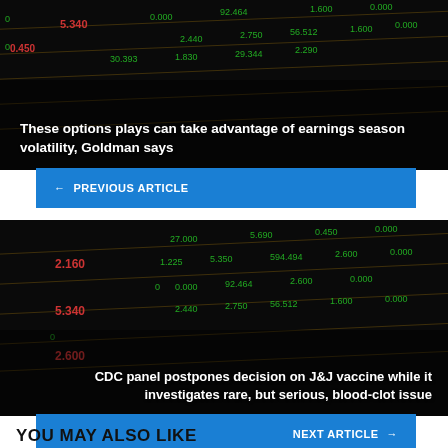[Figure (photo): Stock market ticker board showing red and green numbers on a dark background]
These options plays can take advantage of earnings season volatility, Goldman says
← PREVIOUS ARTICLE
[Figure (photo): Stock market ticker board showing red and green numbers on a dark background]
CDC panel postpones decision on J&J vaccine while it investigates rare, but serious, blood-clot issue
NEXT ARTICLE →
YOU MAY ALSO LIKE